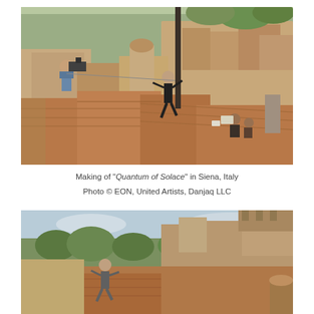[Figure (photo): Behind-the-scenes photo of the making of Quantum of Solace in Siena, Italy. Shows a cameraman with a stabilized camera rig on a rooftop on the left, and an actor running/jumping across terracotta-tiled rooftops in the center. Ancient stone buildings and green hillsides visible in the background.]
Making of "Quantum of Solace" in Siena, Italy
Photo © EON, United Artists, Danjaq LLC
[Figure (photo): Film still or behind-the-scenes photo showing a person running/leaping on a rooftop in Siena, Italy. Ancient stone buildings, terraced hillside with trees, and a medieval fortress/castle visible in the background under a partly cloudy sky.]